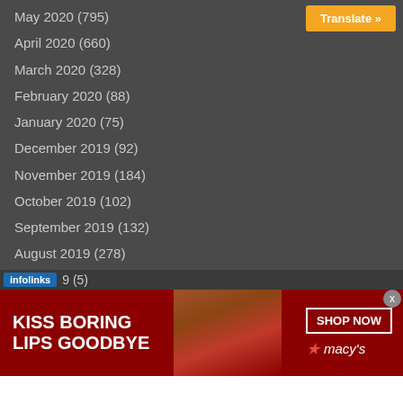May 2020 (795)
April 2020 (660)
March 2020 (328)
February 2020 (88)
January 2020 (75)
December 2019 (92)
November 2019 (184)
October 2019 (102)
September 2019 (132)
August 2019 (278)
July 2019 (153)
June 2019 (300)
infolinks  9 (5)
[Figure (advertisement): Macy's advertisement: KISS BORING LIPS GOODBYE with woman's face and SHOP NOW button with Macy's star logo]